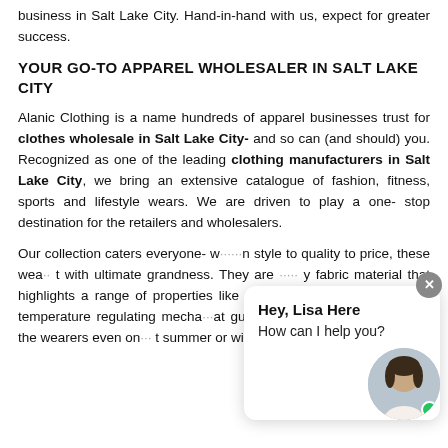business in Salt Lake City. Hand-in-hand with us, expect for greater success.
YOUR GO-TO APPAREL WHOLESALER IN SALT LAKE CITY
Alanic Clothing is a name hundreds of apparel businesses trust for clothes wholesale in Salt Lake City- and so can (and should) you. Recognized as one of the leading clothing manufacturers in Salt Lake City, we bring an extensive catalogue of fashion, fitness, sports and lifestyle wears. We are driven to play a one- stop destination for the retailers and wholesalers.
Our collection caters everyone- w... style to quality to price, these wea... with ultimate grandness. They are ... fabric material that highlights a range of properties like active wicking, ventilation and temperature regulating mecha... at guarantees maximum comfort to the wearers even on ... summer or winter days.
[Figure (other): Chat widget popup showing 'Hey, Lisa Here / How can I help you?' with a female avatar photo and a green online indicator dot, plus a close (x) button at the top right of the popup.]